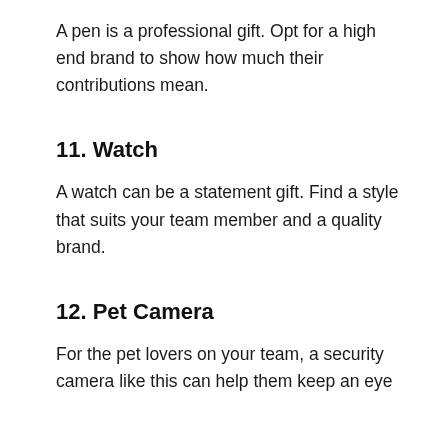A pen is a professional gift. Opt for a high end brand to show how much their contributions mean.
11. Watch
A watch can be a statement gift. Find a style that suits your team member and a quality brand.
12. Pet Camera
For the pet lovers on your team, a security camera like this can help them keep an eye